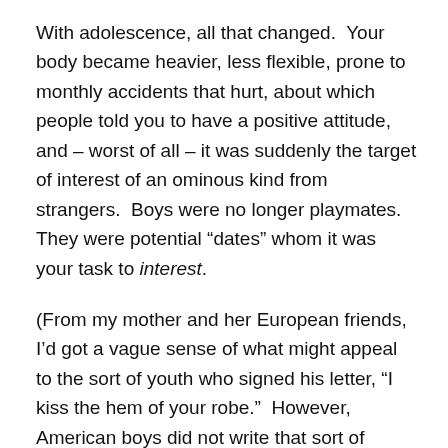With adolescence, all that changed.  Your body became heavier, less flexible, prone to monthly accidents that hurt, about which people told you to have a positive attitude, and – worst of all – it was suddenly the target of interest of an ominous kind from strangers.  Boys were no longer playmates.  They were potential “dates” whom it was your task to interest.
(From my mother and her European friends, I’d got a vague sense of what might appeal to the sort of youth who signed his letter, “I kiss the hem of your robe.”  However, American boys did not write that sort of letter.)
Omitting the grotesque theories from Sigmund Freud that prevailed in my adolescence and prompted girls to worry whether we were free from inhibitions, worry changed to fear at about the age of 20.  At some point thereafter, a girl